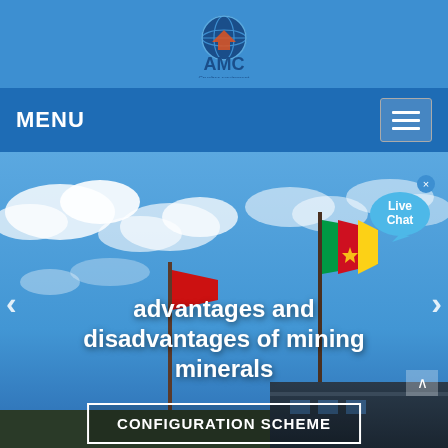[Figure (logo): AMC logo with globe icon and text 'AMC' on blue header bar]
MENU
[Figure (photo): Photo of flags (Cameroon flag and a red flag) against a blue sky with clouds, at what appears to be a mining or industrial site]
advantages and disadvantages of mining minerals
CONFIGURATION SCHEME
[Figure (illustration): Live Chat speech bubble widget in cyan/blue color with close (x) button]